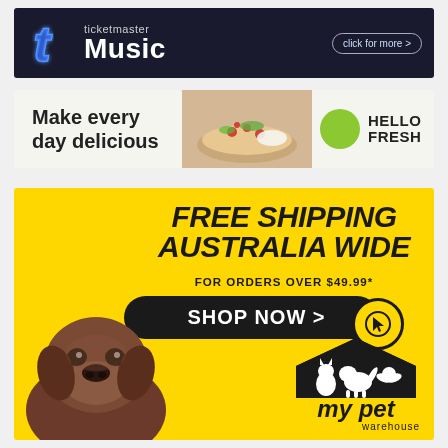[Figure (illustration): Ticketmaster Music advertisement banner with dark background, blue neon 't' logo, white text 'ticketmaster Music', and 'click for more >' button]
[Figure (illustration): HelloFresh advertisement banner with white background, text 'Make every day delicious', food imagery, lime/green circle, and HELLO FRESH logo]
[Figure (illustration): My Pet Warehouse advertisement with yellow background, bold text 'FREE SHIPPING AUSTRALIA WIDE FOR ORDERS OVER $49.99*', black 'SHOP NOW >' button, chocolate Labrador dog photo, and My Pet Warehouse logo]